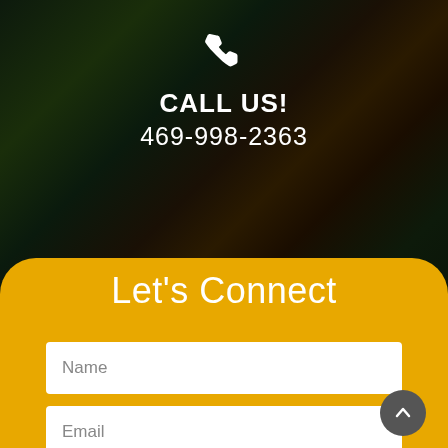[Figure (photo): Dark nighttime background with trees silhouetted against a dark sky, with some colored lighting visible behind trees]
CALL US!
469-998-2363
Let's Connect
Name
Email
Phone